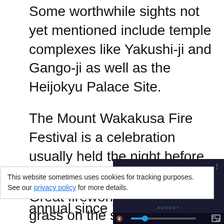Some worthwhile sights not yet mentioned include temple complexes like Yakushi-ji and Gango-ji as well as the Heijokyu Palace Site.
The Mount Wakakusa Fire Festival is a celebration usually held the night before the 2nd Monday in January. Great fireworks and the dry grass on the slopes of this mountain are set on fire by two temples, and can make for a spectacular show. There is also an annual light festival in August called Nara Toka-e, where 10... area around Nara...
[Figure (screenshot): Video player overlay showing 'THIS DAY IN HISTORY' with a play button and 'AUGUST' label, dark background with blue accents. Controls bar at bottom with mute icon, progress bar, and fullscreen icon.]
This website sometimes uses cookies for tracking purposes. See our privacy policy for more details.
annual since 1 CE...